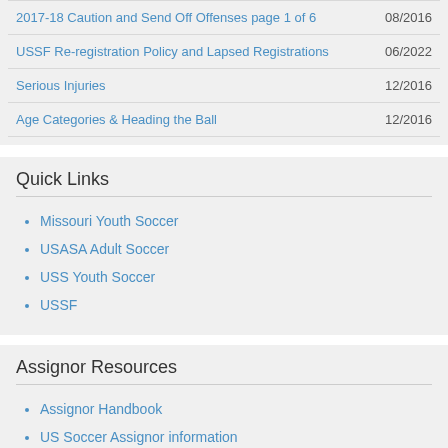| Document | Date |
| --- | --- |
| 2017-18 Caution and Send Off Offenses page 1 of 6 | 08/2016 |
| USSF Re-registration Policy and Lapsed Registrations | 06/2022 |
| Serious Injuries | 12/2016 |
| Age Categories & Heading the Ball | 12/2016 |
Quick Links
Missouri Youth Soccer
USASA Adult Soccer
USS Youth Soccer
USSF
Assignor Resources
Assignor Handbook
US Soccer Assignor information